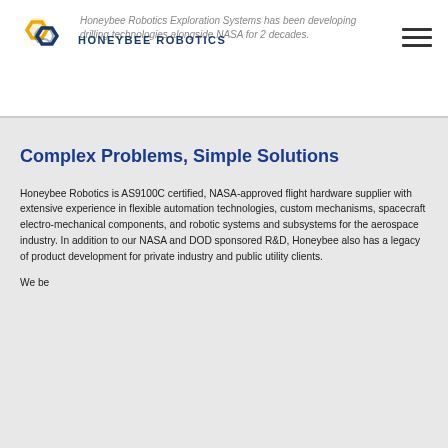Honeybee Robotics Exploration Systems has been developing drilling technologies alongside NASA for 2 decades.
[Figure (logo): Honeybee Robotics logo with hexagonal chain icon in gold and navy, company name in navy capital letters]
Complex Problems, Simple Solutions
Honeybee Robotics is AS9100C certified, NASA-approved flight hardware supplier with extensive experience in flexible automation technologies, custom mechanisms, spacecraft electro-mechanical components, and robotic systems and subsystems for the aerospace industry. In addition to our NASA and DOD sponsored R&D, Honeybee also has a legacy of product development for private industry and public utility clients.
We be...